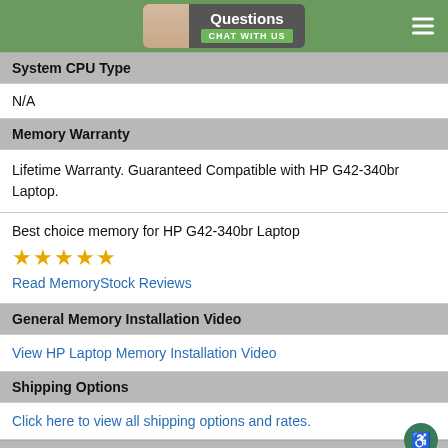Questions CHAT WITH US
System CPU Type
N/A
Memory Warranty
Lifetime Warranty. Guaranteed Compatible with HP G42-340br Laptop.
Best choice memory for HP G42-340br Laptop
★★★★★
Read MemoryStock Reviews
General Memory Installation Video
View HP Laptop Memory Installation Video
Shipping Options
Click here to view all shipping options and rates.
New Search